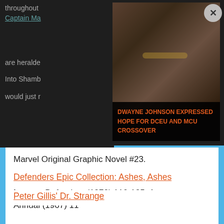[Figure (photo): Screenshot of a webpage with a dark overlay showing partial article text and an ad overlay featuring Dwayne Johnson in Black Adam costume with text 'DWAYNE JOHNSON EXPRESSED HOPE FOR DCEU AND MCU CROSSOVER'. A close button (X) is in the top right of the ad.]
Marvel Original Graphic Novel #23.
Defenders Epic Collection: Ashes, Ashes
Issues: Defenders (1972) 110-125, Avengers Annual (1967) 11
Peter Gillis’ Dr. Strange
Following the Roger Stern era, Peter Gillis closes out the second volume of Doctor Strange.